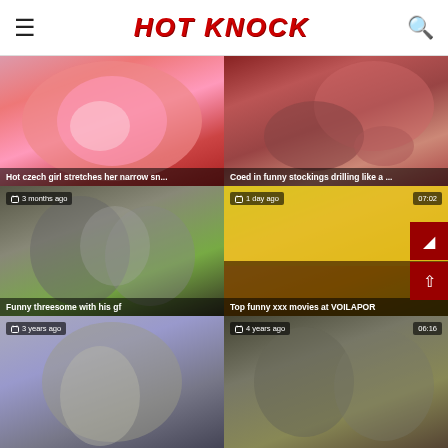HOT KNOCK
[Figure (photo): Video thumbnail grid showing 6 adult video thumbnails with titles and metadata]
Hot czech girl stretches her narrow sn...
Coed in funny stockings drilling like a ...
Funny threesome with his gf
Top funny xxx movies at VOILAPOR
(3 months ago)
1 day ago | 07:02
3 years ago
4 years ago | 06:16